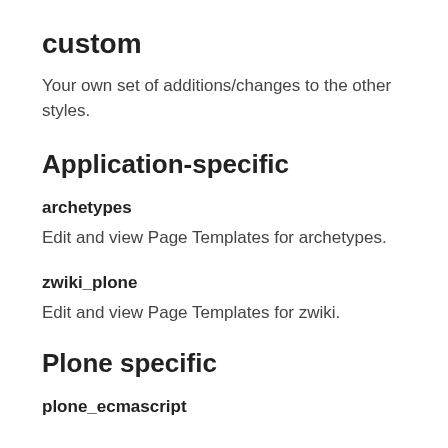custom
Your own set of additions/changes to the other styles.
Application-specific
archetypes
Edit and view Page Templates for archetypes.
zwiki_plone
Edit and view Page Templates for zwiki.
Plone specific
plone_ecmascript